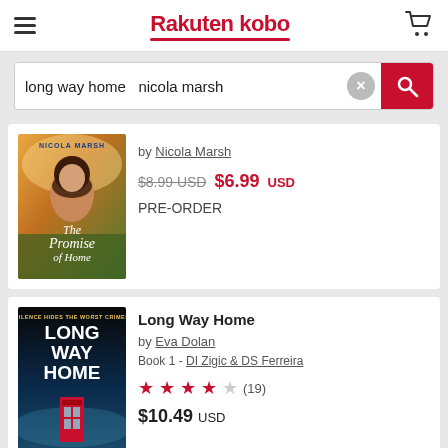Rakuten kobo
long way home  nicola marsh
[Figure (illustration): Book cover for 'The Promise of Home' by Nicola Marsh — shows a young woman with brown hair against a warm golden outdoor background]
by Nicola Marsh
$8.99 USD $6.99 USD
PRE-ORDER
[Figure (illustration): Book cover for 'Long Way Home' by Eva Dolan — dark thriller cover with large white text on dark blue/black background and red phone box]
Long Way Home
by Eva Dolan
Book 1 - DI Zigic & DS Ferreira
★★★★☆ (19)
$10.49 USD